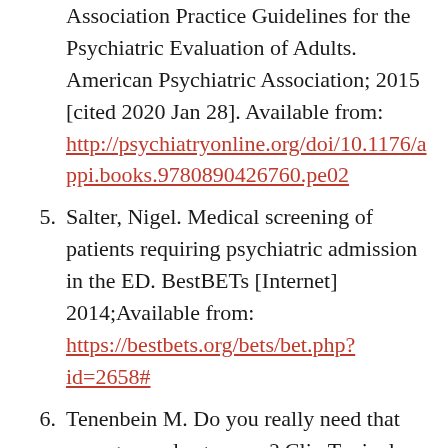Association Practice Guidelines for the Psychiatric Evaluation of Adults. American Psychiatric Association; 2015 [cited 2020 Jan 28]. Available from: http://psychiatryonline.org/doi/10.1176/appi.books.9780890426760.pe02
5. Salter, Nigel. Medical screening of patients requiring psychiatric admission in the ED. BestBETs [Internet] 2014;Available from: https://bestbets.org/bets/bet.php?id=2658#
6. Tenenbein M. Do you really need that emergency drug screen? Clin Toxicol (Phila) 2009;47(4):286-91.